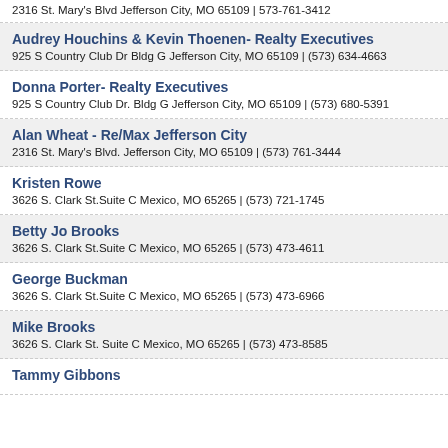2316 St. Mary's Blvd Jefferson City, MO 65109 | 573-761-3412
Audrey Houchins & Kevin Thoenen- Realty Executives
925 S Country Club Dr Bldg G Jefferson City, MO 65109 | (573) 634-4663
Donna Porter- Realty Executives
925 S Country Club Dr. Bldg G Jefferson City, MO 65109 | (573) 680-5391
Alan Wheat - Re/Max Jefferson City
2316 St. Mary's Blvd. Jefferson City, MO 65109 | (573) 761-3444
Kristen Rowe
3626 S. Clark St.Suite C Mexico, MO 65265 | (573) 721-1745
Betty Jo Brooks
3626 S. Clark St.Suite C Mexico, MO 65265 | (573) 473-4611
George Buckman
3626 S. Clark St.Suite C Mexico, MO 65265 | (573) 473-6966
Mike Brooks
3626 S. Clark St. Suite C Mexico, MO 65265 | (573) 473-8585
Tammy Gibbons